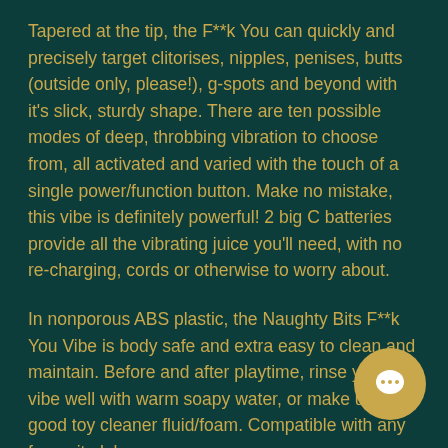Tapered at the tip, the F**k You can quickly and precisely target clitorises, nipples, penises, butts (outside only, please!), g-spots and beyond with it's slick, sturdy shape. There are ten possible modes of deep, throbbing vibration to choose from, all activated and varied with the touch of a single power/function button. Make no mistake, this vibe is definitely powerful! 2 big C batteries provide all the vibrating juice you'll need, with no re-charging, cords or otherwise to worry about.
In nonporous ABS plastic, the Naughty Bits F**k You Vibe is body safe and extra easy to clean and maintain. Before and after playtime, rinse your vibe well with warm soapy water, or make use of a good toy cleaner fluid/foam. Compatible with any favourite lube.
[Figure (other): Chat bubble icon — circular button with speech bubble symbol in cream/gold color on gold background]